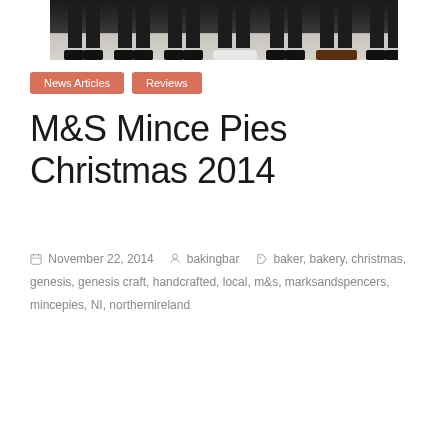[Figure (photo): Cropped photo showing lower bodies/legs and feet of several people standing in a row, wearing dark trousers and various shoes on a light floor]
News Articles   Reviews
M&S Mince Pies Christmas 2014
November 22, 2014   bakingbar   baker, bakery, christmas, genesis, genesis craft, handcrafted, local, m&s, marksandspencers, mincepies, NI, northernireland